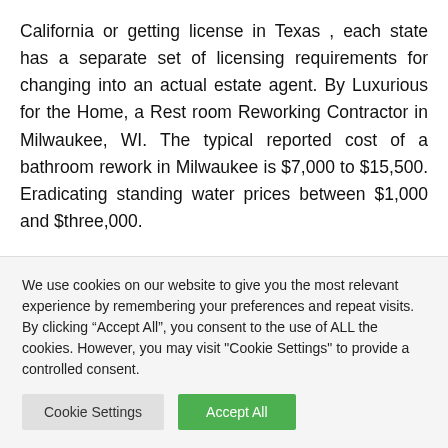California or getting license in Texas , each state has a separate set of licensing requirements for changing into an actual estate agent. By Luxurious for the Home, a Rest room Reworking Contractor in Milwaukee, WI. The typical reported cost of a bathroom rework in Milwaukee is $7,000 to $15,500. Eradicating standing water prices between $1,000 and $three,000.
Inside, a recurring minimalist theme has additionally
We use cookies on our website to give you the most relevant experience by remembering your preferences and repeat visits. By clicking “Accept All”, you consent to the use of ALL the cookies. However, you may visit "Cookie Settings" to provide a controlled consent.